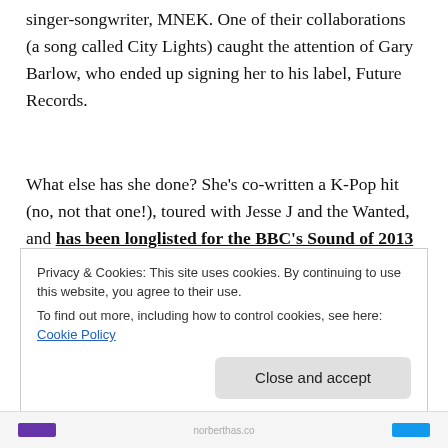singer-songwriter, MNEK. One of their collaborations (a song called City Lights) caught the attention of Gary Barlow, who ended up signing her to his label, Future Records.
What else has she done? She's co-written a K-Pop hit (no, not that one!), toured with Jesse J and the Wanted, and has been longlisted for the BBC's Sound of 2013 poll. AND she publishes her own magazine. No, I am not jealous at all...
Privacy & Cookies: This site uses cookies. By continuing to use this website, you agree to their use. To find out more, including how to control cookies, see here: Cookie Policy